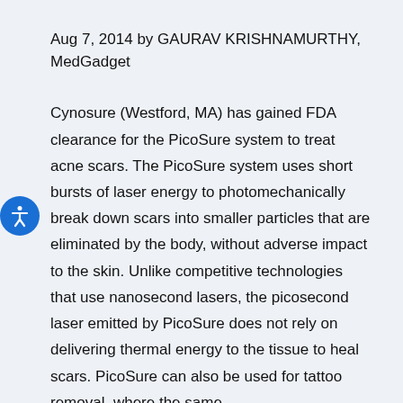Aug 7, 2014 by GAURAV KRISHNAMURTHY, MedGadget
Cynosure (Westford, MA) has gained FDA clearance for the PicoSure system to treat acne scars. The PicoSure system uses short bursts of laser energy to photomechanically break down scars into smaller particles that are eliminated by the body, without adverse impact to the skin. Unlike competitive technologies that use nanosecond lasers, the picosecond laser emitted by PicoSure does not rely on delivering thermal energy to the tissue to heal scars. PicoSure can also be used for tattoo removal, where the same